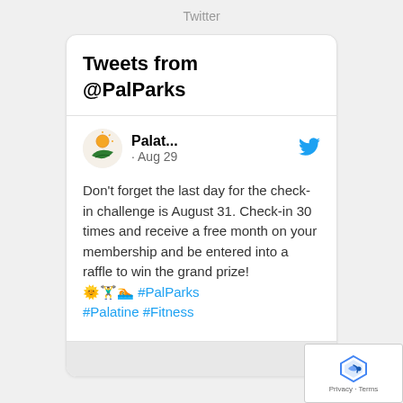Twitter
Tweets from @PalParks
Palat... · Aug 29
Don't forget the last day for the check-in challenge is August 31. Check-in 30 times and receive a free month on your membership and be entered into a raffle to win the grand prize! 🌞🏋‍♂️🏊 #PalParks #Palatine #Fitness